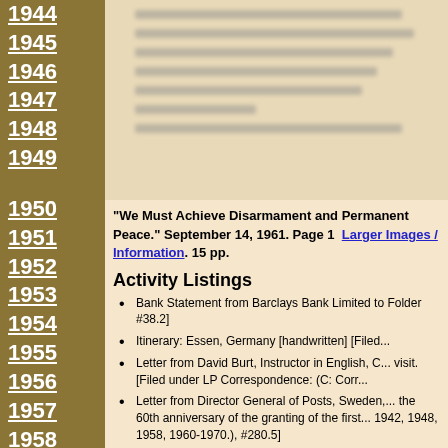1944
1945
1946
1947
1948
1949
1950
1951
1952
1953
1954
1955
1956
1957
1958
1959
1960
1961
[Figure (other): Blurred/redacted document page image]
"We Must Achieve Disarmament and Permanent Peace." September 14, 1961. Page 1  Larger Images / Information. 15 pp.
Activity Listings
Bank Statement from Barclays Bank Limited to Folder #38.2]
Itinerary: Essen, Germany [handwritten] [Filed...
Letter from David Burt, Instructor in English, C... visit. [Filed under LP Correspondence: (C: Corr...
Letter from Director General of Posts, Sweden,... the 60th anniversary of the granting of the first... 1942, 1948, 1958, 1960-1970.), #280.5]